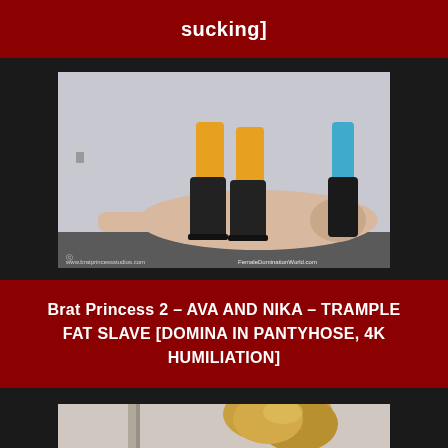sucking]
[Figure (photo): Two women in boots standing on a lying man, domination scene. Watermarks: www.bratprincessstudios.com and FemaleDominationWorld.com]
Brat Princess 2 – AVA AND NIKA – TRAMPLE FAT SLAVE [DOMINA IN PANTYHOSE, 4K HUMILIATION]
[Figure (photo): Partial photo showing a blonde woman from behind]